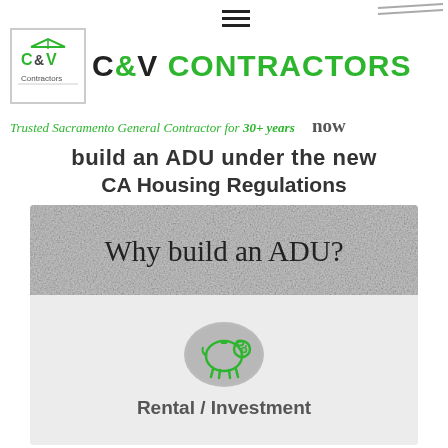C&V CONTRACTORS
Trusted Sacramento General Contractor for 30+ years
now
build an ADU under the new CA Housing Regulations
[Figure (infographic): Infographic panel with textured stone/concrete background reading 'Why build an ADU?' at the top, and below a piggy bank icon inside a grey oval circle, with text 'Rental / Investment' below it.]